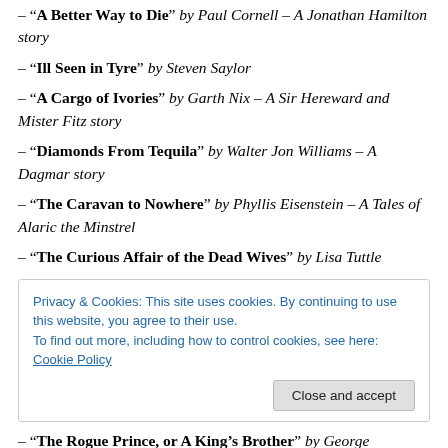– “A Better Way to Die” by Paul Cornell – A Jonathan Hamilton story
– “Ill Seen in Tyre” by Steven Saylor
– “A Cargo of Ivories” by Garth Nix – A Sir Hereward and Mister Fitz story
– “Diamonds From Tequila” by Walter Jon Williams – A Dagmar story
– “The Caravan to Nowhere” by Phyllis Eisenstein – A Tales of Alaric the Minstrel
– “The Curious Affair of the Dead Wives” by Lisa Tuttle
Privacy & Cookies: This site uses cookies. By continuing to use this website, you agree to their use. To find out more, including how to control cookies, see here: Cookie Policy
– “The Rogue Prince, or A King’s Brother” by George